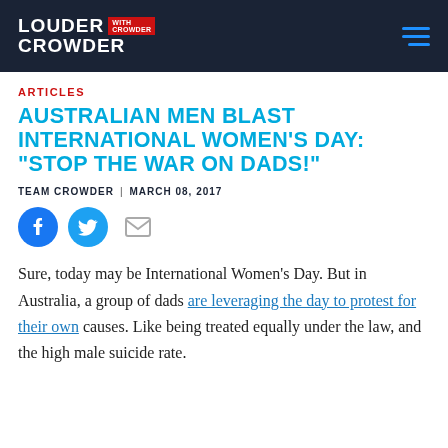LOUDER WITH CROWDER
ARTICLES
AUSTRALIAN MEN BLAST INTERNATIONAL WOMEN'S DAY: "STOP THE WAR ON DADS!"
TEAM CROWDER | MARCH 08, 2017
[Figure (infographic): Social share icons: Facebook (blue circle), Twitter (blue circle), Email (grey envelope)]
Sure, today may be International Women's Day. But in Australia, a group of dads are leveraging the day to protest for their own causes. Like being treated equally under the law, and the high male suicide rate.